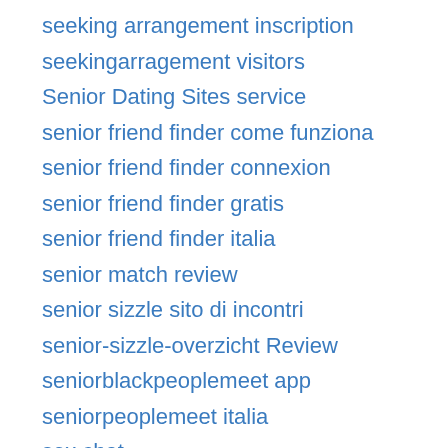seeking arrangement inscription
seekingarragement visitors
Senior Dating Sites service
senior friend finder come funziona
senior friend finder connexion
senior friend finder gratis
senior friend finder italia
senior match review
senior sizzle sito di incontri
senior-sizzle-overzicht Review
seniorblackpeoplemeet app
seniorpeoplemeet italia
sex chat
sex chats
Sex Sites service